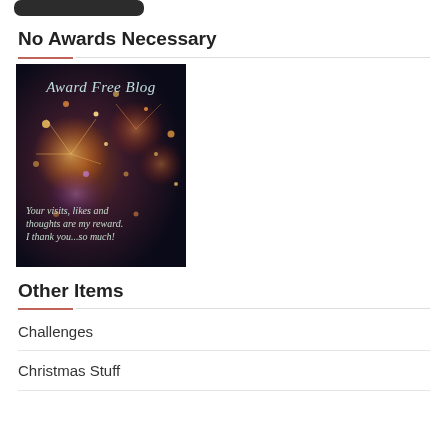[Figure (other): Partial dark rounded rectangle shape at top of page, cropped from above]
No Awards Necessary
[Figure (photo): Award Free Blog image: fireworks on dark background with text 'Award Free Blog' at top and 'Your visits, likes and thoughts are my reward. I thank you...so much!' at bottom]
Other Items
Challenges
Christmas Stuff